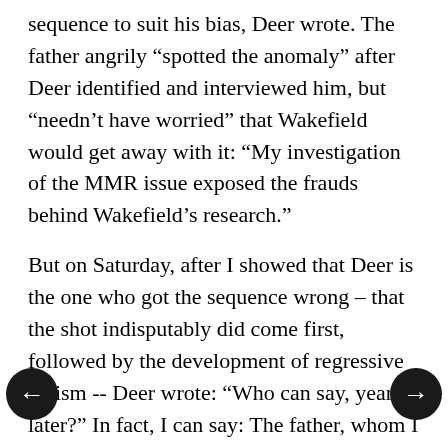sequence to suit his bias, Deer wrote. The father angrily “spotted the anomaly” after Deer identified and interviewed him, but “needn’t have worried” that Wakefield would get away with it: “My investigation of the MMR issue exposed the frauds behind Wakefield’s research.”
But on Saturday, after I showed that Deer is the one who got the sequence wrong – that the shot indisputably did come first, followed by the development of regressive autism -- Deer wrote: “Who can say, years later?” In fact, I can say: The father, whom I also identified and interviewed, wrote Wakefield as early as 1997, and contemporaneous medical records establish, that the child got the MMR at 15 months, became sick for several months,